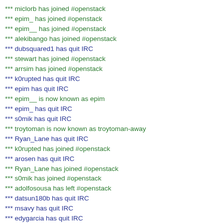*** miclorb has joined #openstack
*** epim_ has joined #openstack
*** epim__ has joined #openstack
*** alekibango has joined #openstack
*** dubsquared1 has quit IRC
*** stewart has joined #openstack
*** arrsim has joined #openstack
*** k0rupted has quit IRC
*** epim has quit IRC
*** epim__ is now known as epim
*** epim_ has quit IRC
*** s0mik has quit IRC
*** troytoman is now known as troytoman-away
*** Ryan_Lane has quit IRC
*** k0rupted has joined #openstack
*** arosen has quit IRC
*** Ryan_Lane has joined #openstack
*** s0mik has joined #openstack
*** adolfosousa has left #openstack
*** datsun180b has quit IRC
*** msavy has quit IRC
*** edygarcia has quit IRC